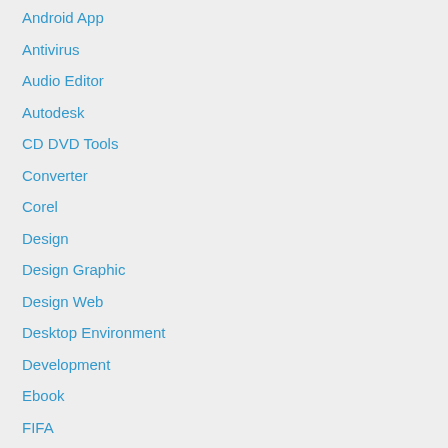Android App
Antivirus
Audio Editor
Autodesk
CD DVD Tools
Converter
Corel
Design
Design Graphic
Design Web
Desktop Environment
Development
Ebook
FIFA
Game PC